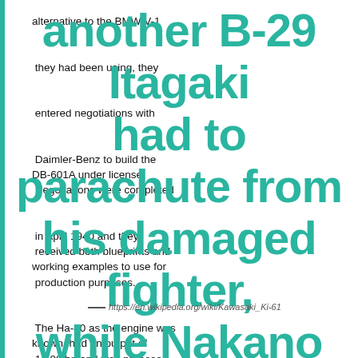alternative to the BMW V-1 they had been using, they entered negotiations with Daimler-Benz to build the DB-601A under license. Negotiations were completed in April 1940 and they received both blueprints and working examples to use for production purposes. The Ha-40 as the engine was known, had an output of 1,100 hp and was proposed to be used in two different fighter designs – the Ki-60 heavy interceptor and the Ki-
[Figure (other): Large teal/green bold overlay caption text reading: 'another B-29 Itagaki had to parachute from his damaged fighter, while Nakano rammed and damaged Long Distance of the 498th BG and crash-landed his stripped-down Ki-61 in a field']
https://en.wikipedia.org/wiki/Kawasaki_Ki-61